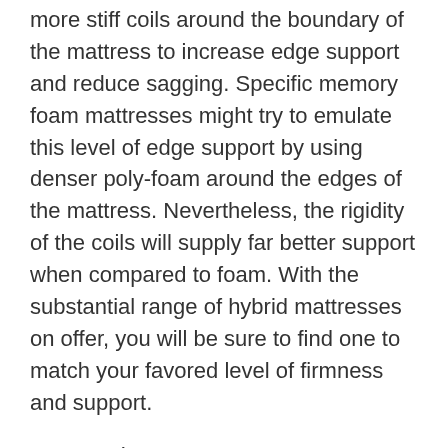more stiff coils around the boundary of the mattress to increase edge support and reduce sagging. Specific memory foam mattresses might try to emulate this level of edge support by using denser poly-foam around the edges of the mattress. Nevertheless, the rigidity of the coils will supply far better support when compared to foam. With the substantial range of hybrid mattresses on offer, you will be sure to find one to match your favored level of firmness and support.
Responsiveness
The internal coil systems in hybrid mattresses greatly improve the levels of responsiveness to your movement whilst